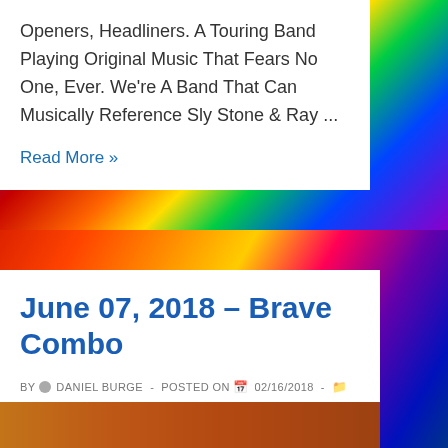Openers, Headliners. A Touring Band Playing Original Music That Fears No One, Ever. We're A Band That Can Musically Reference Sly Stone & Ray ...
Read More »
[Figure (photo): Colorful abstract psychedelic background with rainbow hues]
June 07, 2018 – Brave Combo
BY DANIEL BURGE - POSTED ON 02/16/2018 - POSTED IN EVENTS, SHOWS, SUMMER IN THE PARK, SUMMER IN THE PARK 2018
[Figure (photo): Photo strip at bottom of article card, warm earth tones]